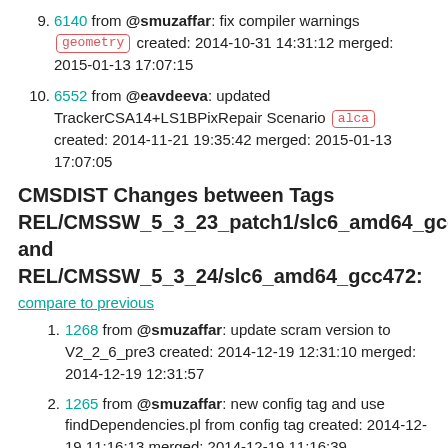9. 6140 from @smuzaffar: fix compiler warnings [geometry] created: 2014-10-31 14:31:12 merged: 2015-01-13 17:07:15
10. 6552 from @eavdeeva: updated TrackerCSA14+LS1BPixRepair Scenario [alca] created: 2014-11-21 19:35:42 merged: 2015-01-13 17:07:05
CMSDIST Changes between Tags REL/CMSSW_5_3_23_patch1/slc6_amd64_gcc472 and REL/CMSSW_5_3_24/slc6_amd64_gcc472:
compare to previous
1. 1268 from @smuzaffar: update scram version to V2_2_6_pre3 created: 2014-12-19 12:31:10 merged: 2014-12-19 12:31:57
2. 1265 from @smuzaffar: new config tag and use findDependencies.pl from config tag created: 2014-12-19 11:16:13 merged: 2014-12-19 11:16:39
3. 1214 from @degano: Update frontier client to 2.8.11. created: 2014-11-26 09:48:26 merged: 2014-11-26